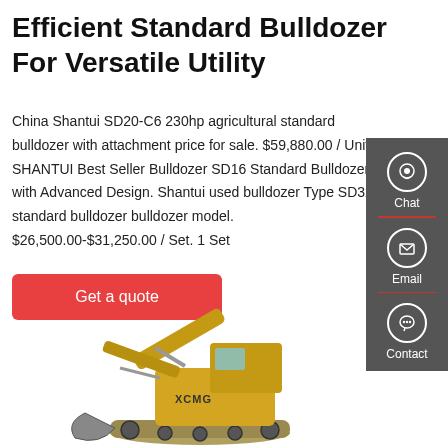Efficient Standard Bulldozer For Versatile Utility
China Shantui SD20-C6 230hp agricultural standard bulldozer with attachment price for sale. $59,880.00 / Unit. SHANTUI Best Seller Bulldozer SD16 Standard Bulldozer with Advanced Design. Shantui used bulldozer Type SD32 standard bulldozer bulldozer model. $26,500.00-$31,250.00 / Set. 1 Set
Get a quote
[Figure (screenshot): Sidebar UI overlay with Chat, Email, and Contact icons on dark grey background]
[Figure (photo): XCMG yellow excavator photographed from front-left angle against white background]